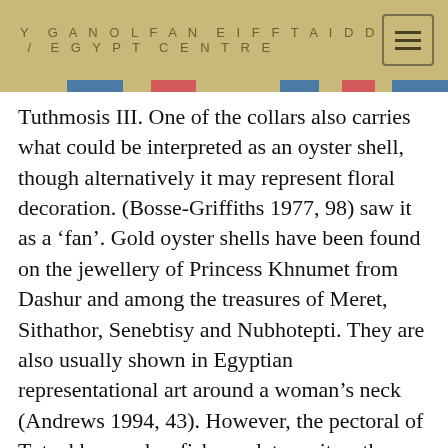Y GANOLFAN EIFFTAIDD / EGYPT CENTRE
Tuthmosis III. One of the collars also carries what could be interpreted as an oyster shell, though alternatively it may represent floral decoration. (Bosse-Griffiths 1977, 98) saw it as a ‘fan’. Gold oyster shells have been found on the jewellery of Princess Khnumet from Dashur and among the treasures of Meret, Sithathor, Senebtisy and Nubhotepti. They are also usually shown in Egyptian representational art around a woman’s neck (Andrews 1994, 43). However, the pectoral of Tutankhamun has fish amulets on it so these are not exclusively female associated objects. Other amulets upon the collars, such as the heart amulet, can be associated with either men or